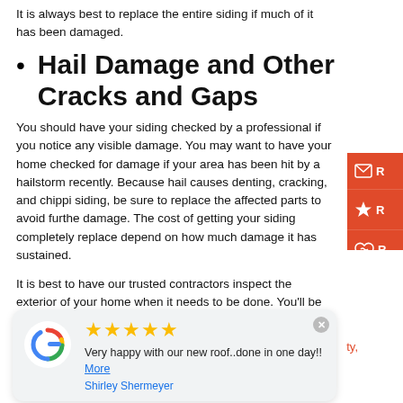It is always best to replace the entire siding if much of it has been damaged.
Hail Damage and Other Cracks and Gaps
You should have your siding checked by a professional if you notice any visible damage. You may want to have your home checked for damage if your area has been hit by a hailstorm recently. Because hail causes denting, cracking, and chipping siding, be sure to replace the affected parts to avoid further damage. The cost of getting your siding completely replaced depend on how much damage it has sustained.
It is best to have our trusted contractors inspect the exterior of your home when it needs to be done. You’ll be able to decide if you need a repair or a replacement after we carefully inspect the exterior for damage.
[Figure (other): Google review widget showing 5 stars with text: Very happy with our new roof..done in one day!! More - Shirley Shermeyer]